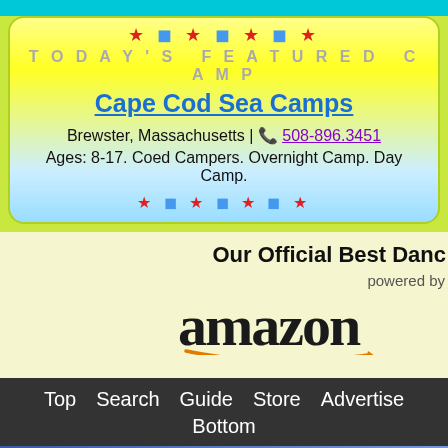TODAY'S FEATURED CAMP
Cape Cod Sea Camps
Brewster, Massachusetts | ☎ 508-896.3451
Ages: 8-17. Coed Campers. Overnight Camp. Day Camp.
Our Official Best Danc
powered by
[Figure (logo): Amazon logo with orange smile arrow]
Top  Search  Guide  Store  Advertise  Bottom